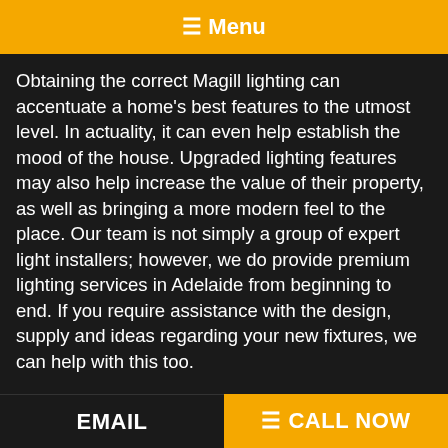☰ Menu
Obtaining the correct Magill lighting can accentuate a home's best features to the utmost level. In actuality, it can even help establish the mood of the house. Upgraded lighting features may also help increase the value of their property, as well as bringing a more modern feel to the place. Our team is not simply a group of expert light installers; however, we do provide premium lighting services in Adelaide from beginning to end. If you require assistance with the design, supply and ideas regarding your new fixtures, we can help with this too.

We won't just push the latest fads and gadgets (although we have got those if you want them) — the light of the inside and
EMAIL | ☰ CALL NOW